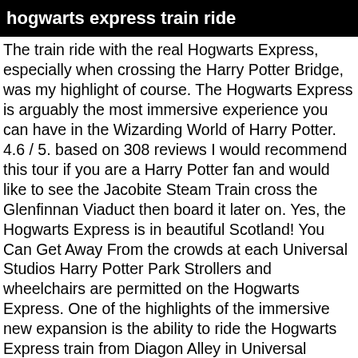hogwarts express train ride
The train ride with the real Hogwarts Express, especially when crossing the Harry Potter Bridge, was my highlight of course. The Hogwarts Express is arguably the most immersive experience you can have in the Wizarding World of Harry Potter. 4.6 / 5. based on 308 reviews I would recommend this tour if you are a Harry Potter fan and would like to see the Jacobite Steam Train cross the Glenfinnan Viaduct then board it later on. Yes, the Hogwarts Express is in beautiful Scotland! You Can Get Away From the crowds at each Universal Studios Harry Potter Park Strollers and wheelchairs are permitted on the Hogwarts Express. One of the highlights of the immersive new expansion is the ability to ride the Hogwarts Express train from Diagon Alley in Universal Studios to the village of Hogsmeade in Islands of Adventure. Before you head to the station, however, there are some things that you should know. Death eaters won’t knock the train from side to side. The Hogwarts Express – OI fun facts. ; Location: One-way trips depart from both Hogsmeade at Islands of Adventure